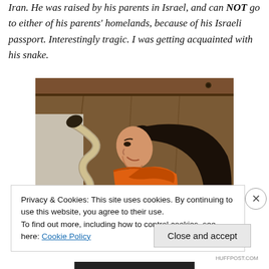Iran. He was raised by his parents in Israel, and can NOT go to either of his parents' homelands, because of his Israeli passport. Interestingly tragic. I was getting acquainted with his snake.
[Figure (photo): A woman with long dark hair wearing an orange shirt, looking upward and smiling, with a snake visible to her left, inside what appears to be a wooden enclosure or terrarium.]
Privacy & Cookies: This site uses cookies. By continuing to use this website, you agree to their use.
To find out more, including how to control cookies, see here: Cookie Policy
Close and accept